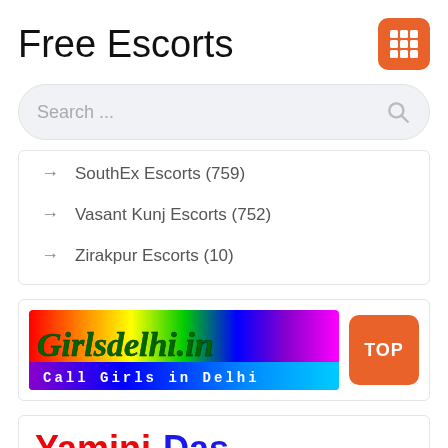Free Escorts
Search ...
SouthEx Escorts (759)
Vasant Kunj Escorts (752)
Zirakpur Escorts (10)
[Figure (logo): Girlsdelhi.in banner with rainbow gradient background and text 'Call Girls in Delhi']
TOP
Yamini Das